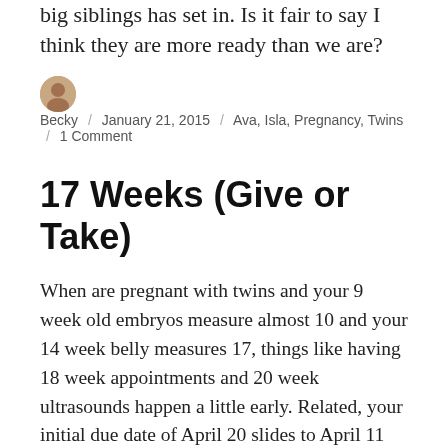At 20 weeks...the reality that they will soon be big siblings has set in. Is it fair to say I think they are more ready than we are?
Becky / January 21, 2015 / Ava, Isla, Pregnancy, Twins / 1 Comment
17 Weeks (Give or Take)
When are pregnant with twins and your 9 week old embryos measure almost 10 and your 14 week belly measures 17, things like having 18 week appointments and 20 week ultrasounds happen a little early. Related, your initial due date of April 20 slides to April 11 and your doctor warns you that could change after said